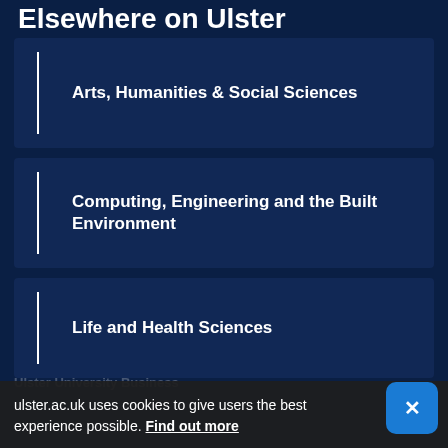Elsewhere on Ulster
Arts, Humanities & Social Sciences
Computing, Engineering and the Built Environment
Life and Health Sciences
ulster.ac.uk uses cookies to give users the best experience possible. Find out more